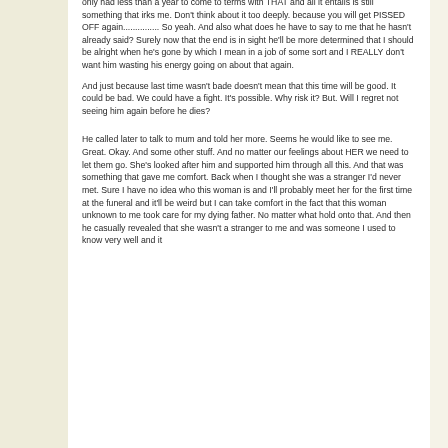only had less than a year to come to terms with THAT and all it entails is still something that irks me. Don't think about it too deeply. because you will get PISSED OFF again............... So yeah. And also what does he have to say to me that he hasn't already said? Surely now that the end is in sight he'll be more determined that I should be alright when he's gone by which I mean in a job of some sort and I REALLY don't want him wasting his energy going on about that again.
And just because last time wasn't bade doesn't mean that this time will be good. It could be bad. We could have a fight. It's possible. Why risk it? But. Will I regret not seeing him again before he dies?

He called later to talk to mum and told her more. Seems he would like to see me. Great. Okay. And some other stuff. And no matter our feelings about HER we need to let them go. She's looked after him and supported him through all this. And that was something that gave me comfort. Back when I thought she was a stranger I'd never met. Sure I have no idea who this woman is and I'll probably meet her for the first time at the funeral and it'll be weird but I can take comfort in the fact that this woman unknown to me took care for my dying father. No matter what hold onto that. And then he casually revealed that she wasn't a stranger to me and was someone I used to know very well and it